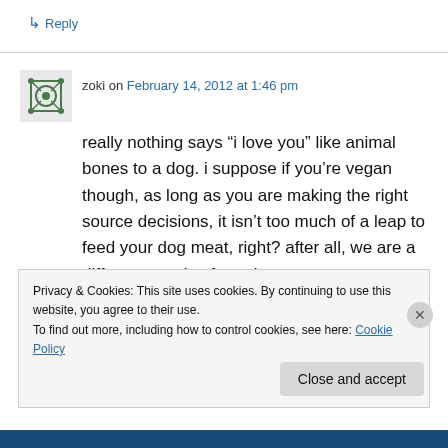↳ Reply
zoki on February 14, 2012 at 1:46 pm
really nothing says “i love you” like animal bones to a dog. i suppose if you’re vegan though, as long as you are making the right source decisions, it isn’t too much of a leap to feed your dog meat, right? after all, we are a different species from them.
Privacy & Cookies: This site uses cookies. By continuing to use this website, you agree to their use.
To find out more, including how to control cookies, see here: Cookie Policy
Close and accept